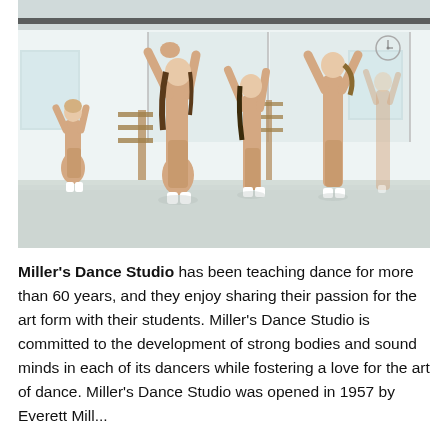[Figure (photo): Young girls in beige dancewear practicing dance poses with arms raised overhead in a bright white dance studio with mirrors and barres.]
Miller's Dance Studio has been teaching dance for more than 60 years, and they enjoy sharing their passion for the art form with their students. Miller's Dance Studio is committed to the development of strong bodies and sound minds in each of its dancers while fostering a love for the art of dance. Miller's Dance Studio was opened in 1957 by Everett Miller...